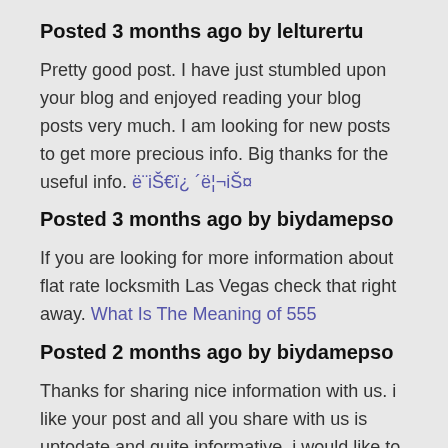Posted 3 months ago by lelturertu
Pretty good post. I have just stumbled upon your blog and enjoyed reading your blog posts very much. I am looking for new posts to get more precious info. Big thanks for the useful info. ë¨iŠ€ï¿ ´ë¦¬iŠ¤
Posted 3 months ago by biydamepso
If you are looking for more information about flat rate locksmith Las Vegas check that right away. What Is The Meaning of 555
Posted 2 months ago by biydamepso
Thanks for sharing nice information with us. i like your post and all you share with us is uptodate and quite informative, i would like to bookmark the page so i can come here again to read you, as you have done a wonderful job. interior models